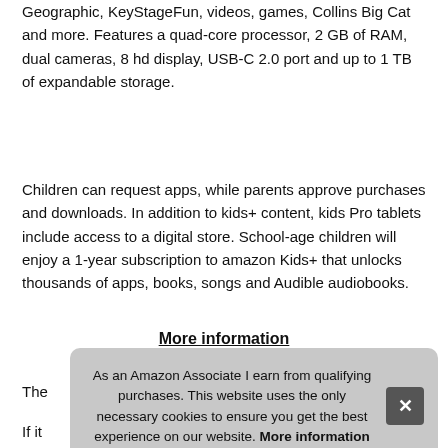Geographic, KeyStageFun, videos, games, Collins Big Cat and more. Features a quad-core processor, 2 GB of RAM, dual cameras, 8 hd display, USB-C 2.0 port and up to 1 TB of expandable storage.
Children can request apps, while parents approve purchases and downloads. In addition to kids+ content, kids Pro tablets include access to a digital store. School-age children will enjoy a 1-year subscription to amazon Kids+ that unlocks thousands of apps, books, songs and Audible audiobooks.
More information
The [partially obscured] filte[red] spe[cified]
If it [partially obscured]
As an Amazon Associate I earn from qualifying purchases. This website uses the only necessary cookies to ensure you get the best experience on our website. More information